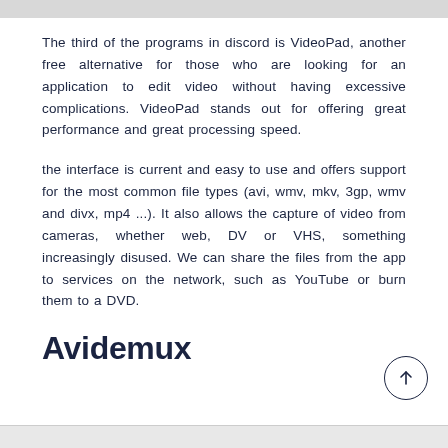The third of the programs in discord is VideoPad, another free alternative for those who are looking for an application to edit video without having excessive complications. VideoPad stands out for offering great performance and great processing speed.
the interface is current and easy to use and offers support for the most common file types (avi, wmv, mkv, 3gp, wmv and divx, mp4 ...). It also allows the capture of video from cameras, whether web, DV or VHS, something increasingly disused. We can share the files from the app to services on the network, such as YouTube or burn them to a DVD.
Avidemux